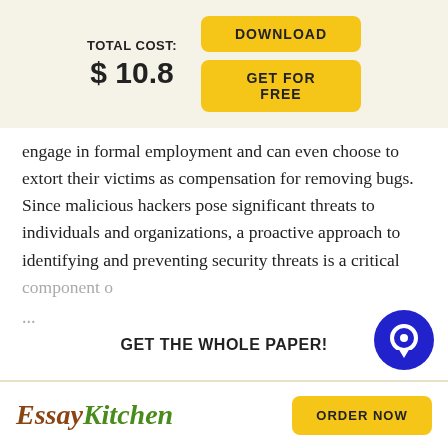TOTAL COST: $ 10.8
DOWNLOAD
GET FOR FREE
engage in formal employment and can even choose to extort their victims as compensation for removing bugs. Since malicious hackers pose significant threats to individuals and organizations, a proactive approach to identifying and preventing security threats is a critical component o
...
GET THE WHOLE PAPER!
EssayKitchen
ORDER NOW